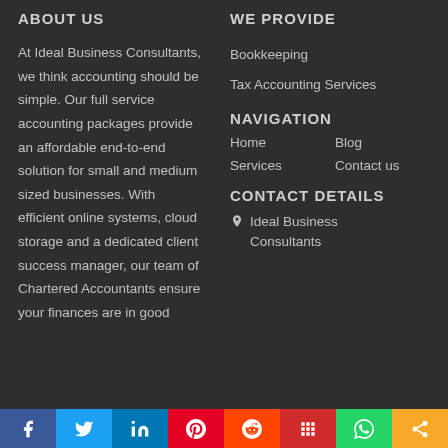ABOUT US
At Ideal Business Consultants, we think accounting should be simple. Our full service accounting packages provide an affordable end-to-end solution for small and medium sized businesses. With efficient online systems, cloud storage and a dedicated client success manager, our team of Chartered Accountants ensure your finances are in good
WE PROVIDE
Bookkeeping
Tax Accounting Services
NAVIGATION
Home
Blog
Services
Contact us
CONTACT DETAILS
Ideal Business Consultants